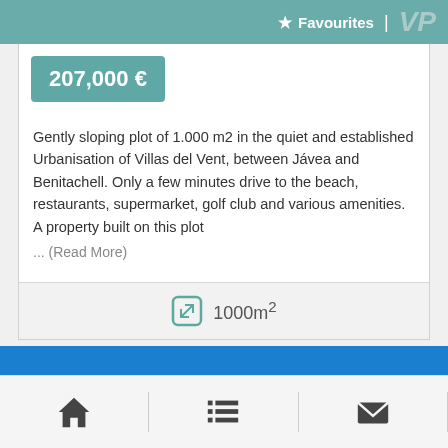★ Favourites | VP
207,000 €
Gently sloping plot of 1.000 m2 in the quiet and established Urbanisation of Villas del Vent, between Jávea and Benitachell. Only a few minutes drive to the beach, restaurants, supermarket, golf club and various amenities. A property built on this plot ... (Read More)
1000m²
Home | List | Contact